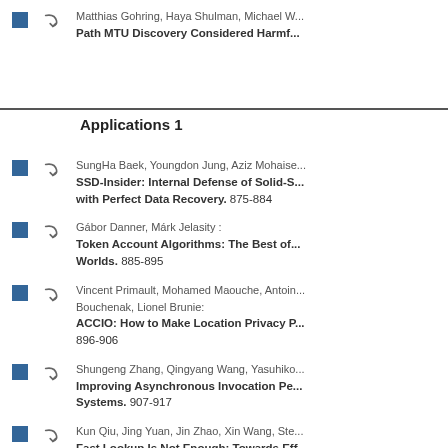Matthias Gohring, Haya Shulman, Michael W... Path MTU Discovery Considered Harmf...
Applications 1
SungHa Baek, Youngdon Jung, Aziz Mohaise... SSD-Insider: Internal Defense of Solid-S... with Perfect Data Recovery. 875-884
Gábor Danner, Márk Jelasity : Token Account Algorithms: The Best of... Worlds. 885-895
Vincent Primault, Mohamed Maouche, Antoin... Bouchenak, Lionel Brunie: ACCIO: How to Make Location Privacy... 896-906
Shungeng Zhang, Qingyang Wang, Yasuhiko... Improving Asynchronous Invocation Pe... Systems. 907-917
Kun Qiu, Jing Yuan, Jin Zhao, Xin Wang, Ste... Fast Lookup Is Not Enough: Towards Eff...